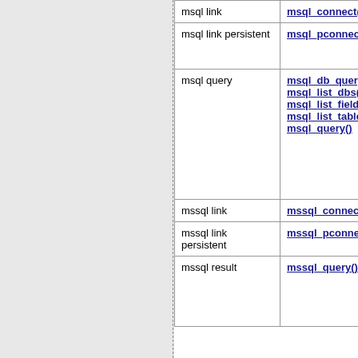| Resource Type | Creation Function | Affected Functions |
| --- | --- | --- |
| msql link | msql_connect() | msql_select_db()... |
| msql link persistent | msql_pconnect() | msql(), msql_db_query(), msql_select_db()... |
| msql query | msql_db_query(), msql_list_dbs(), msql_list_fields(), msql_list_tables(), msql_query() | msql(), msql_db_query(), msql_fetch_array()... |
| mssql link | mssql_connect() | mssql_... |
| mssql link persistent | mssql_pconnect() | mssql_... |
| mssql result | mssql_query() | mssql_fetch_array()... |